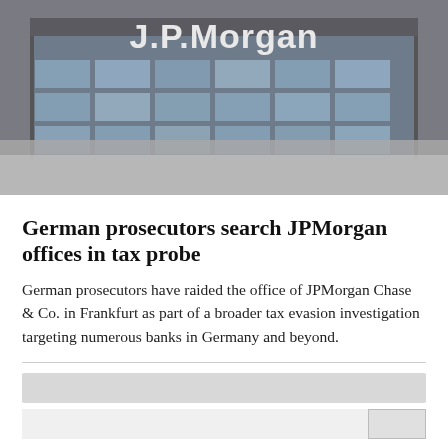[Figure (photo): Exterior photo of a JPMorgan office building with large J.P.Morgan signage on the facade and glass windows reflecting the surroundings. Bottom portion is blurred/frosted.]
German prosecutors search JPMorgan offices in tax probe
German prosecutors have raided the office of JPMorgan Chase & Co. in Frankfurt as part of a broader tax evasion investigation targeting numerous banks in Germany and beyond.
[Figure (photo): Partially visible second article image, showing a grey/light background section, bottom of page.]